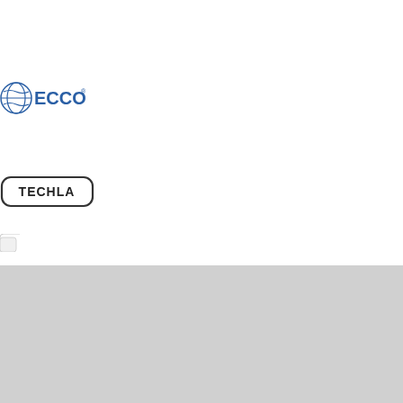[Figure (logo): ECCO brand logo with blue globe/wave icon and bold blue text 'ECCO' with registered trademark symbol]
[Figure (logo): TECHLA logo in dark text inside a rounded rectangle border]
Further Information
About
Trade Account
Bulb Finder
FAQs
Home Page
Customer Services
Terms & Conditions
Privacy
Delivery & Returns
Contact